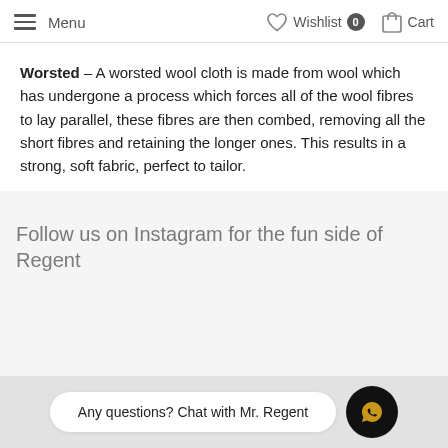Menu  Wishlist 0  Cart
Worsted – A worsted wool cloth is made from wool which has undergone a process which forces all of the wool fibres to lay parallel, these fibres are then combed, removing all the short fibres and retaining the longer ones. This results in a strong, soft fabric, perfect to tailor.
Follow us on Instagram for the fun side of Regent
Any questions? Chat with Mr. Regent